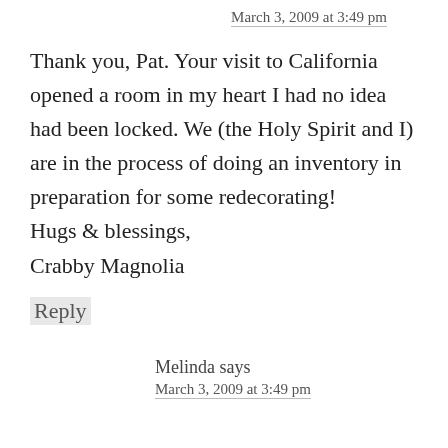March 3, 2009 at 3:49 pm
Thank you, Pat. Your visit to California opened a room in my heart I had no idea had been locked. We (the Holy Spirit and I) are in the process of doing an inventory in preparation for some redecorating!
Hugs & blessings,
Crabby Magnolia
Reply
Melinda says
March 3, 2009 at 3:49 pm